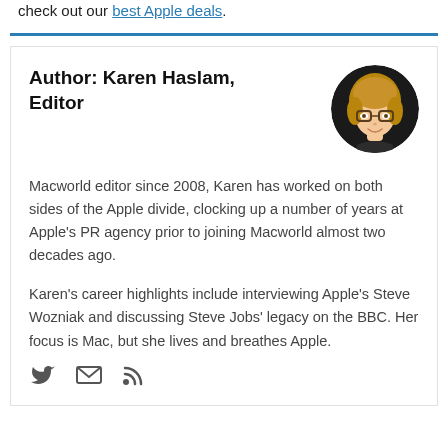check out our best Apple deals.
Author: Karen Haslam, Editor
[Figure (illustration): Circular avatar illustration of Karen Haslam, an animated/memoji-style portrait of a woman with blonde hair and glasses on a dark background]
Macworld editor since 2008, Karen has worked on both sides of the Apple divide, clocking up a number of years at Apple's PR agency prior to joining Macworld almost two decades ago.
Karen's career highlights include interviewing Apple's Steve Wozniak and discussing Steve Jobs' legacy on the BBC. Her focus is Mac, but she lives and breathes Apple.
[Figure (illustration): Social media icons: Twitter bird, email envelope, RSS feed symbol]